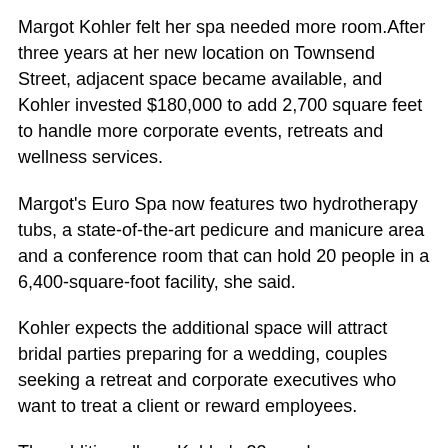Margot Kohler felt her spa needed more room.After three years at her new location on Townsend Street, adjacent space became available, and Kohler invested $180,000 to add 2,700 square feet to handle more corporate events, retreats and wellness services.
Margot's Euro Spa now features two hydrotherapy tubs, a state-of-the-art pedicure and manicure area and a conference room that can hold 20 people in a 6,400-square-foot facility, she said.
Kohler expects the additional space will attract bridal parties preparing for a wedding, couples seeking a retreat and corporate executives who want to treat a client or reward employees.
The addition allows Kohler's 22 employees more room to offer and…